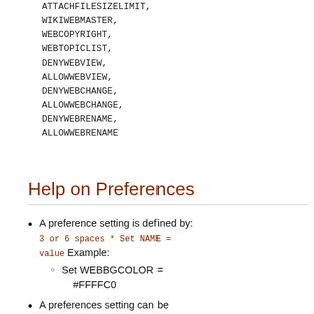ATTACHFILESIZELIMIT, WIKIWEBMASTER, WEBCOPYRIGHT, WEBTOPICLIST, DENYWEBVIEW, ALLOWWEBVIEW, DENYWEBCHANGE, ALLOWWEBCHANGE, DENYWEBRENAME, ALLOWWEBRENAME
Help on Preferences
A preference setting is defined by: 3 or 6 spaces * Set NAME = value Example: Set WEBBGCOLOR = #FFFFC0
A preferences setting can be disabled with a # sign. Remove